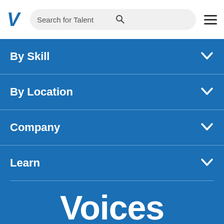V  Search for Talent  [search icon]  [menu icon]
By Skill
By Location
Company
Learn
Voices
Voices is the world's #1 voice marketplace with over 2 million members. Since 2005, the biggest and most